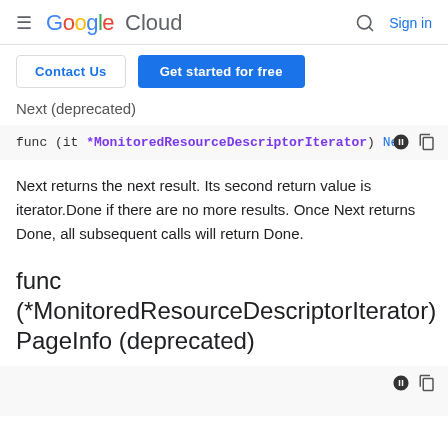Google Cloud  Sign in
Contact Us | Get started for free
Next (deprecated)
[Figure (screenshot): Code block showing: func (it *MonitoredResourceDescriptorIterator) Ne]
Next returns the next result. Its second return value is iterator.Done if there are no more results. Once Next returns Done, all subsequent calls will return Done.
func (*MonitoredResourceDescriptorIterator) PageInfo (deprecated)
[Figure (screenshot): Code block bottom area with dark/copy icons]